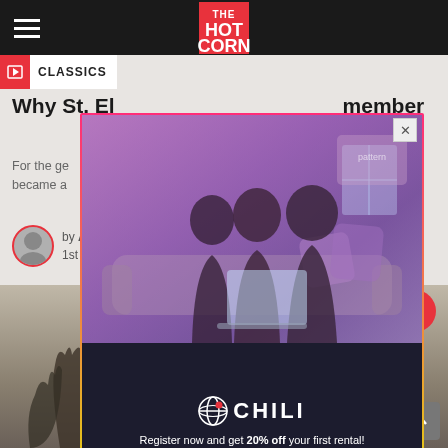THE HOT CORN — CLASSICS
Why St. E[lmo's Fire became a] … [to] remember
For the ge[neration that grew up with it, St. E]lmo's Fire became a [film to remember]
by A[uthor] · 1st J[une...]
[Figure (screenshot): Lower section background with a bearded man and animals (movie artwork)]
[Figure (infographic): Chili streaming service advertisement overlay with family photo, Chili logo, '20% off' promo text and Sign Up button. Text: 'Register now and get 20% off your first rental! Sign Up']